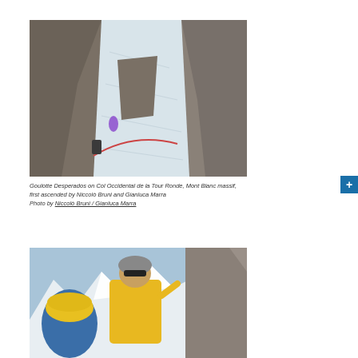[Figure (photo): Goulotte Desperados on Col Occidental de la Tour Ronde, Mont Blanc massif — a climber navigating a rocky couloir with snow-filled gully and rope visible, blue sky above]
Goulotte Desperados on Col Occidental de la Tour Ronde, Mont Blanc massif, first ascended by Niccolò Bruni and Gianluca Marra
Photo by Niccolò Bruni / Gianluca Marra
[Figure (photo): Two climbers celebrating at a mountain summit with snowy peaks in background; one wearing a yellow jacket and sunglasses, the other in a blue helmet]